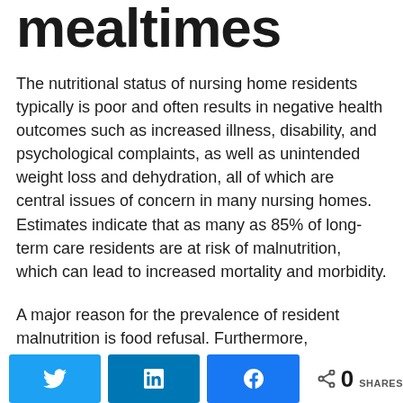mealtimes
The nutritional status of nursing home residents typically is poor and often results in negative health outcomes such as increased illness, disability, and psychological complaints, as well as unintended weight loss and dehydration, all of which are central issues of concern in many nursing homes. Estimates indicate that as many as 85% of long-term care residents are at risk of malnutrition, which can lead to increased mortality and morbidity.
A major reason for the prevalence of resident malnutrition is food refusal. Furthermore, dissatisfaction with food and the dining experience is significant issue for many residents...